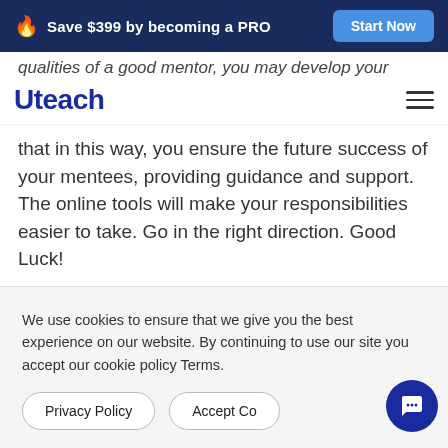🔥 Save $399 by becoming a PRO | Start Now
qualities of a good mentor, you may develop your
Uteach
that in this way, you ensure the future success of your mentees, providing guidance and support. The online tools will make your responsibilities easier to take. Go in the right direction. Good Luck!
We use cookies to ensure that we give you the best experience on our website. By continuing to use our site you accept our cookie policy Terms.
Privacy Policy  Accept Cookies